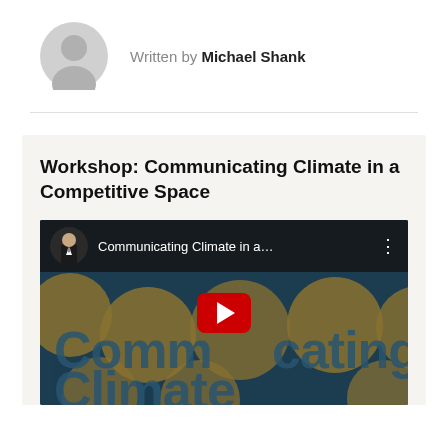Written by Michael Shank
Workshop: Communicating Climate in a Competitive Space
[Figure (screenshot): YouTube video thumbnail showing a presentation titled 'Communicating Climate in a...' with a speaker visible in the top bar, a red YouTube play button in the center, and text 'Communicating Climate' visible in the background on a dark teal background with gold circular logos.]